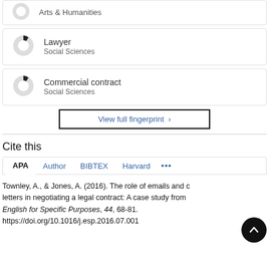[Figure (donut-chart): Donut chart icon for Lawyer / Social Sciences card]
Lawyer
Social Sciences
[Figure (donut-chart): Donut chart icon for Commercial contract / Social Sciences card]
Commercial contract
Social Sciences
View full fingerprint ›
Cite this
APA   Author   BIBTEX   Harvard   •••
Townley, A., & Jones, A. (2016). The role of emails and c letters in negotiating a legal contract: A case study from English for Specific Purposes, 44, 68-81. https://doi.org/10.1016/j.esp.2016.07.001